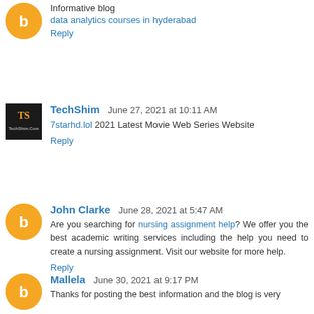Informative blog
data analytics courses in hyderabad
Reply
TechShim June 27, 2021 at 10:11 AM
7starhd.lol 2021 Latest Movie Web Series Website
Reply
John Clarke June 28, 2021 at 5:47 AM
Are you searching for nursing assignment help? We offer you the best academic writing services including the help you need to create a nursing assignment. Visit our website for more help.
Reply
Mallela June 30, 2021 at 9:17 PM
Thanks for posting the best information and the blog is very